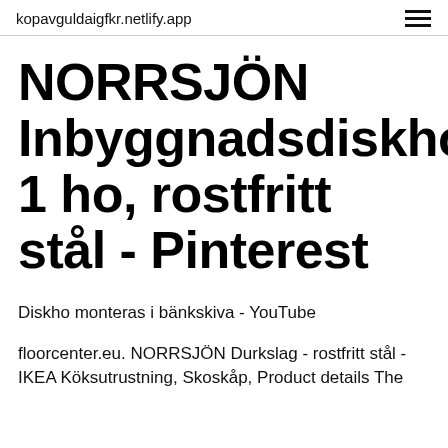kopavguldaigfkr.netlify.app
NORRSJÖN Inbyggnadsdiskho, 1 ho, rostfritt stål - Pinterest
Diskho monteras i bänkskiva - YouTube
floorcenter.eu. NORRSJÖN Durkslag - rostfritt stål - IKEA Köksutrustning, Skoskåp, Product details The